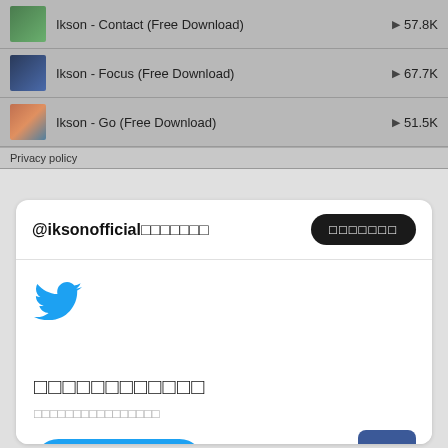Ikson - Contact (Free Download)  ▶ 57.8K
Ikson - Focus (Free Download)  ▶ 67.7K
Ikson - Go (Free Download)  ▶ 51.5K
Privacy policy
@iksonofficial□□□□□□□
□□□□□□□
[Figure (logo): Twitter bird logo in blue]
□□□□□□□□□□□□
□□□□□□□□□□□□□□□□
Twitter□□□
□□□